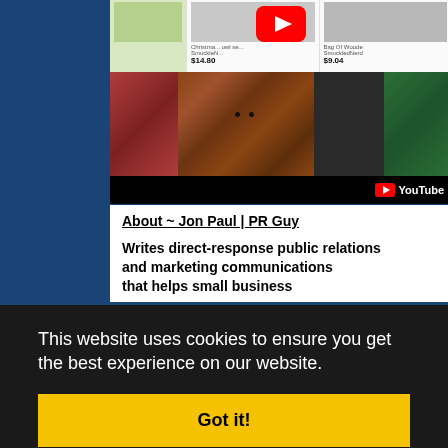[Figure (screenshot): Screenshot of a webpage showing a product grid with items including Christmas Bowl set ($14.80) and Bag Of Wooden items ($9.04) from SmuckledNerd, overlaid with a YouTube play button icon. Below that is a YouTube embed showing a fuzzy brown dog/Chewbacca-like creature with a black YouTube bar at the bottom.]
About ~ Jon Paul | PR Guy
Writes direct-response public relations and marketing communications that helps small business
This website uses cookies to ensure you get the best experience on our website.
Got it!
nutritional supplements, personal development, talent scout curation, a